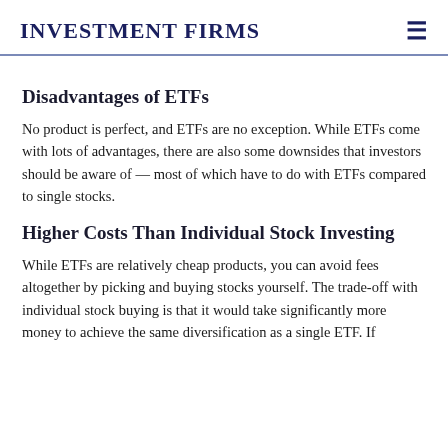Investment Firms
Disadvantages of ETFs
No product is perfect, and ETFs are no exception. While ETFs come with lots of advantages, there are also some downsides that investors should be aware of — most of which have to do with ETFs compared to single stocks.
Higher Costs Than Individual Stock Investing
While ETFs are relatively cheap products, you can avoid fees altogether by picking and buying stocks yourself. The trade-off with individual stock buying is that it would take significantly more money to achieve the same diversification as a single ETF. If